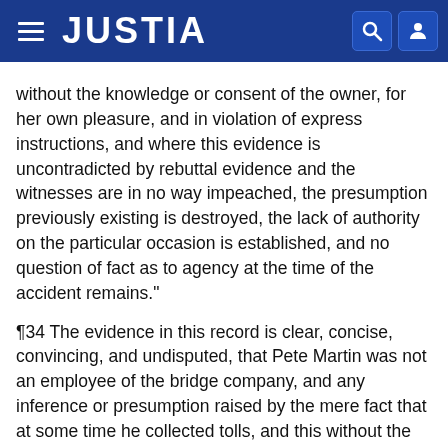JUSTIA
without the knowledge or consent of the owner, for her own pleasure, and in violation of express instructions, and where this evidence is uncontradicted by rebuttal evidence and the witnesses are in no way impeached, the presumption previously existing is destroyed, the lack of authority on the particular occasion is established, and no question of fact as to agency at the time of the accident remains."
¶34 The evidence in this record is clear, concise, convincing, and undisputed, that Pete Martin was not an employee of the bridge company, and any inference or presumption raised by the mere fact that at some time he collected tolls, and this without the knowledge or consent of the bridge company, tending to show that he might be an employee of the bridge company, is destroyed by the positive testimony that he was not an